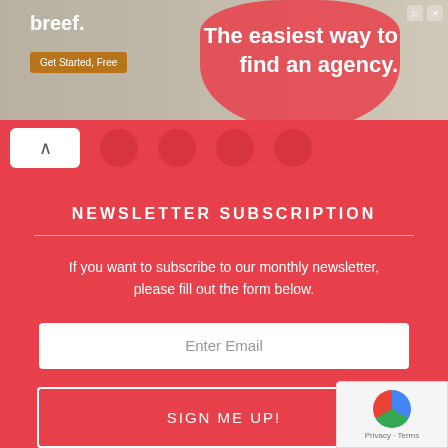[Figure (screenshot): Advertisement banner for breef. with tagline 'The easiest way to find an agency.' and a 'Get Started, Free' button]
[Figure (screenshot): Navigation bar with back button (chevron up) and social media icon circles on a red/coral background]
NEWSLETTER SUBSCRIPTION
If you want to subscribe to our monthly newsletter, please fill out the form below.
Enter Email
SIGN ME UP!